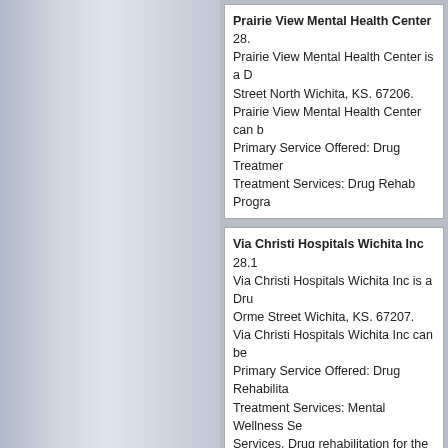Prairie View Mental Health Center 28.[...] Prairie View Mental Health Center is a D[rug...] Street North Wichita, KS. 67206. Prairie View Mental Health Center can b[e...] Primary Service Offered: Drug Treatmen[t...] Treatment Services: Drug Rehab Progra[m...]
Via Christi Hospitals Wichita Inc 28.1 [...] Via Christi Hospitals Wichita Inc is a Dru[g...] Orme Street Wichita, KS. 67207. Via Christi Hospitals Wichita Inc can be [...] Primary Service Offered: Drug Rehabilita[tion...] Treatment Services: Mental Wellness Se[rvices...] Services, Drug rehabilitation for the Hea[ring...]
Changing Habits LLC 30.6 miles from [...] Changing Habits LLC is a Drug Rehabili[tation...] Street Wichita, KS. 67218. Changing Habits LLC can be contacted [...] Primary Service Offered: Drug Rehabilita[tion...] Treatment Services: Drug Rehab Progra[m...] Adolescents, DUI Clients
Substance Use Disorder Clinic 30.7 m[iles...] Substance Use Disorder Clinic is a Dru[g...] 5-A Wichita, KS. 67218. Substance Use Disorder Clinic can be c[ontacted...] Primary Service Offered: Drug Rehab Pr[ogram...] Treatment Services: Drug Rehab Progra[m...] Diagnosis Patients, Females, Drug reha[bilitation...]